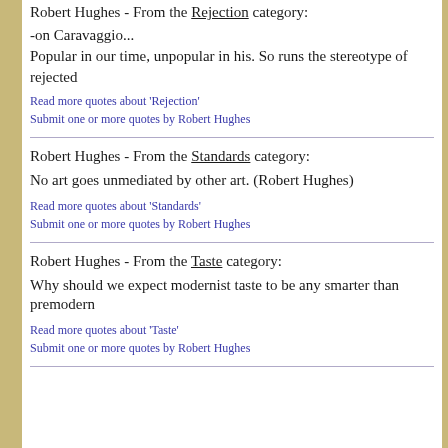Robert Hughes - From the Rejection category:
-on Caravaggio...
Popular in our time, unpopular in his. So runs the stereotype of rejected
Read more quotes about 'Rejection'
Submit one or more quotes by Robert Hughes
Robert Hughes - From the Standards category:
No art goes unmediated by other art. (Robert Hughes)
Read more quotes about 'Standards'
Submit one or more quotes by Robert Hughes
Robert Hughes - From the Taste category:
Why should we expect modernist taste to be any smarter than premodern
Read more quotes about 'Taste'
Submit one or more quotes by Robert Hughes